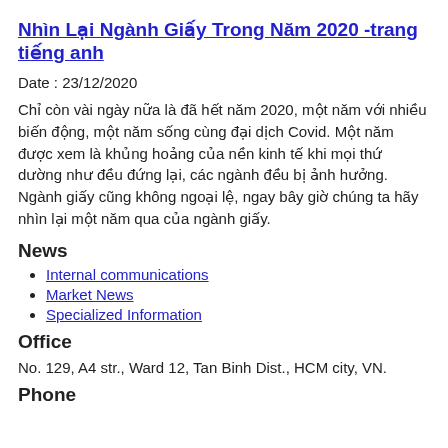Nhìn Lại Ngành Giấy Trong Năm 2020 -trang tiếng anh
Date : 23/12/2020
Chỉ còn vài ngày nữa là đã hết năm 2020, một năm với nhiều biến động, một năm sống cùng đại dịch Covid. Một năm được xem là khủng hoảng của nền kinh tế khi mọi thứ dường như đều đứng lại, các ngành đều bị ảnh hưởng. Ngành giấy cũng không ngoại lệ, ngay bây giờ chúng ta hãy nhìn lại một năm qua của ngành giấy.
News
Internal communications
Market News
Specialized Information
Office
No. 129, A4 str., Ward 12, Tan Binh Dist., HCM city, VN.
Phone